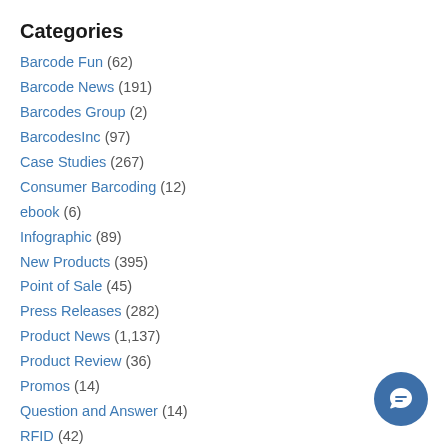Categories
Barcode Fun (62)
Barcode News (191)
Barcodes Group (2)
BarcodesInc (97)
Case Studies (267)
Consumer Barcoding (12)
ebook (6)
Infographic (89)
New Products (395)
Point of Sale (45)
Press Releases (282)
Product News (1,137)
Product Review (36)
Promos (14)
Question and Answer (14)
RFID (42)
Solutions (424)
Tech Tip Tuesday (35)
Tips (169)
Trade Show (12)
Trade-In (8)
TrueView (1)
Uncategorized (33)